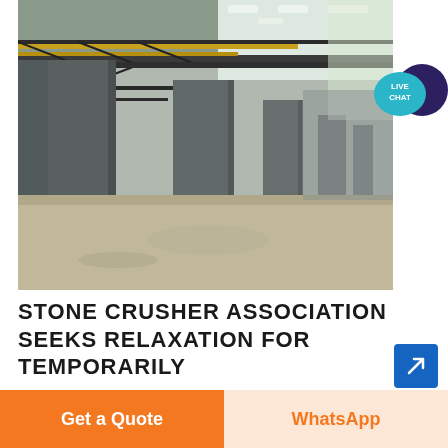[Figure (photo): Interior of a large industrial warehouse or storage facility with concrete pillars, steel roof trusses with yellow pipes, and a dusty concrete floor. The space appears to be empty and used for stone crushing or similar industrial activity.]
STONE CRUSHER ASSOCIATION SEEKS RELAXATION FOR TEMPORARILY
JAMMU, May 30: All long...
Get a Quote
WhatsApp